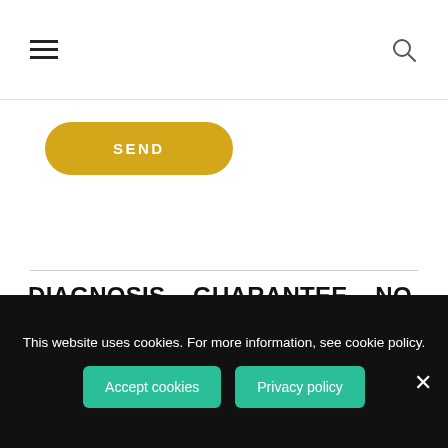Navigation header with hamburger menu and search icon
SEND
DIAGNOSIS – GUARANTEE – NO RISK
We offer you a free diagnosis of your defective control unit and a 3-year warranty on the repair
This website uses cookies. For more information, see cookie policy. Accept cookies  Privacy policy